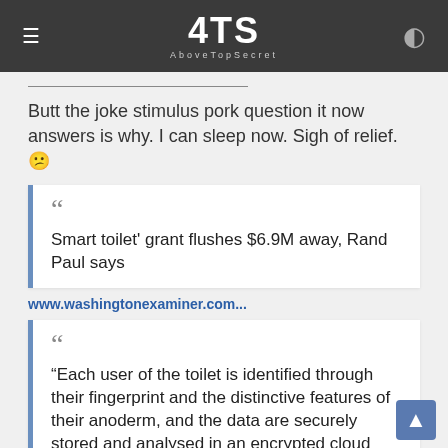4TS AboveTopSecret
Butt the joke stimulus pork question it now answers is why. I can sleep now. Sigh of relief. ☹
Smart toilet' grant flushes $6.9M away, Rand Paul says
www.washingtonexaminer.com...
“Each user of the toilet is identified through their fingerprint and the distinctive features of their anoderm, and the data are securely stored and analysed in an encrypted cloud server,” the abstract noted.

Seung-min Park, a senior research scientist at Stanford